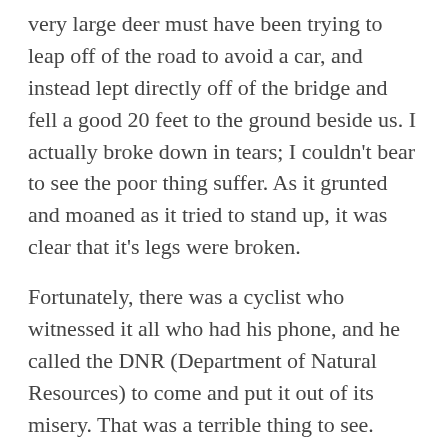very large deer must have been trying to leap off of the road to avoid a car, and instead lept directly off of the bridge and fell a good 20 feet to the ground beside us. I actually broke down in tears; I couldn't bear to see the poor thing suffer. As it grunted and moaned as it tried to stand up, it was clear that it's legs were broken.
Fortunately, there was a cyclist who witnessed it all who had his phone, and he called the DNR (Department of Natural Resources) to come and put it out of its misery. That was a terrible thing to see.
22
Broken Bone.
The worst thing I've seen on a run was my own